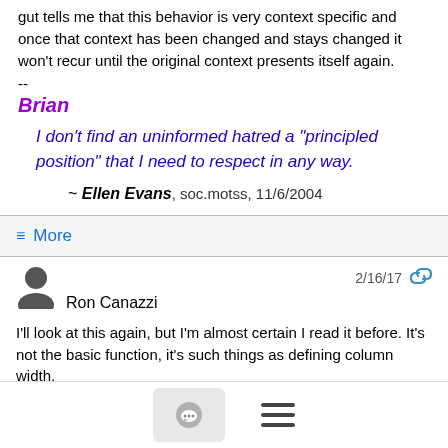gut tells me that this behavior is very context specific and once that context has been changed and stays changed it won't recur until the original context presents itself again.
--
Brian
I don't find an uninformed hatred a "principled position" that I need to respect in any way.
~ Ellen Evans, soc.motss, 11/6/2004
≡ More
Ron Canazzi  2/16/17
I'll look at this again, but I'm almost certain I read it before. It's not the basic function, it's such things as defining column width,